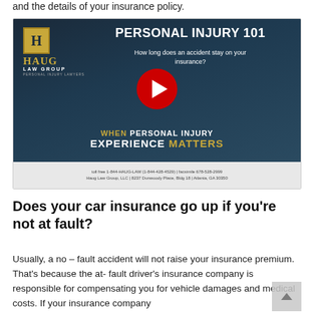and the details of your insurance policy.
[Figure (screenshot): Haug Law Group Personal Injury 101 YouTube video thumbnail. Dark blue background with logo top-left, title 'PERSONAL INJURY 101', subtitle 'How long does an accident stay on your insurance?', red YouTube play button, and tagline 'WHEN PERSONAL INJURY EXPERIENCE MATTERS'. Footer with toll free 1-844-HAUG-LAW (1-844-428-4529) | facsimile 678-528-2999, Haug Law Group, LLC | 8237 Dunwoody Place, Bldg 18 | Atlanta, GA 30350.]
Does your car insurance go up if you’re not at fault?
Usually, a no – fault accident will not raise your insurance premium. That's because the at- fault driver's insurance company is responsible for compensating you for vehicle damages and medical costs. If your insurance company